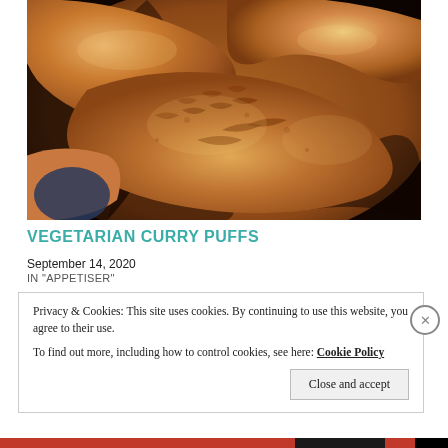[Figure (photo): Close-up photograph of golden-brown baked vegetarian curry puffs (pastries) with flaky, crimped edges on a dark background]
VEGETARIAN CURRY PUFFS
September 14, 2020
IN "APPETISER"
Privacy & Cookies: This site uses cookies. By continuing to use this website, you agree to their use.
To find out more, including how to control cookies, see here: Cookie Policy
Close and accept